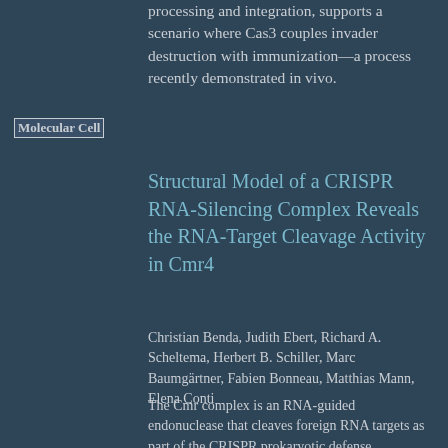processing and integration, supports a scenario where Cas3 couples invader destruction with immunization—a process recently demonstrated in vivo.
Molecular Cell
Structural Model of a CRISPR RNA-Silencing Complex Reveals the RNA-Target Cleavage Activity in Cmr4
Christian Benda, Judith Ebert, Richard A. Scheltema, Herbert B. Schiller, Marc Baumgärtner, Fabien Bonneau, Matthias Mann, Elena Conti
The Cmr complex is an RNA-guided endonuclease that cleaves foreign RNA targets as part of the CRISPR prokaryotic defense